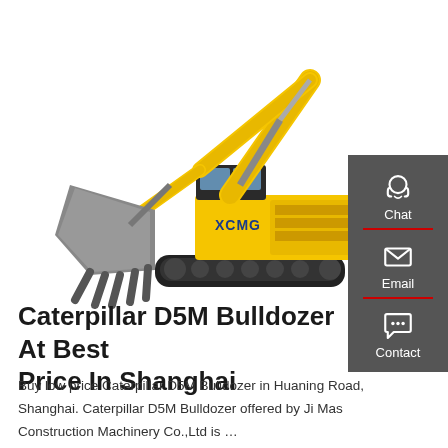[Figure (photo): Large yellow XCMG hydraulic excavator with bucket attachment, shown on white background. The excavator arm is extended with a large bucket/claw attachment on the left side.]
Caterpillar D5M Bulldozer At Best Price In Shanghai
Buy low price Caterpillar D5M Bulldozer in Huaning Road, Shanghai. Caterpillar D5M Bulldozer offered by Ji Mas Construction Machinery Co.,Ltd is …